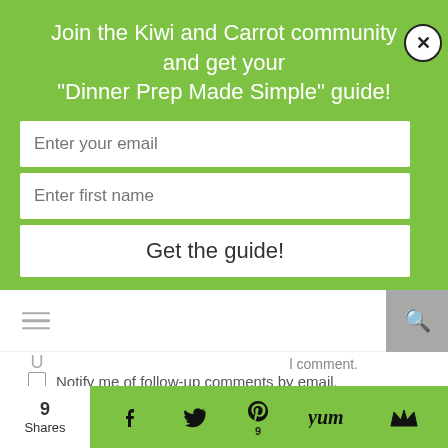Join the Kiwi and Carrot community and get your "Dinner Prep Made Simple" guide!
Enter your email
Enter first name
Get the guide!
l comment.
Notify me of follow-up comments by email.
Notify me of new posts by email.
POST COMMENT
9 Shares
[Figure (screenshot): Social share bar with Facebook, Twitter, Pinterest (badge: 9), Yummly, and Monarch icons on green background]